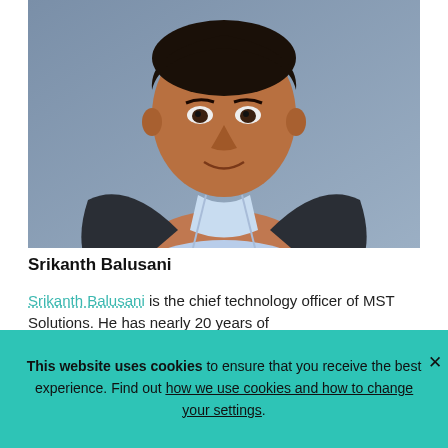[Figure (photo): Professional headshot of Srikanth Balusani, a man in a dark blazer and light blue shirt, smiling, against a grey background.]
Srikanth Balusani
Srikanth Balusani is the chief technology officer of MST Solutions. He has nearly 20 years of
This website uses cookies to ensure that you receive the best experience. Find out how we use cookies and how to change your settings.